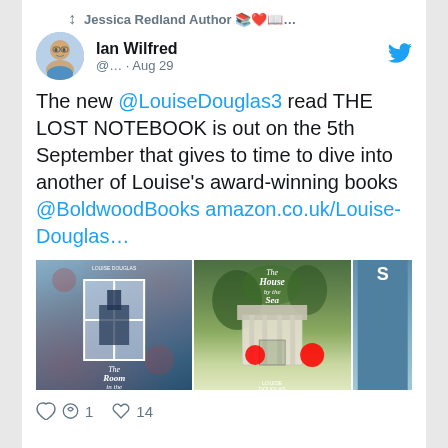Jessica Redland Author 📚❤️📖... retweeted
Ian Wilfred @... · Aug 29
The new @LouiseDouglas3 read THE LOST NOTEBOOK is out on the 5th September that gives to time to dive into another of Louise's award-winning books @BoldwoodBooks amazon.co.uk/Louise-Douglas…
[Figure (photo): Two book covers by Louise Douglas: 'The Room in the Attic' and 'The House by the Sea', with a partial third cover visible]
1 reply, 14 likes